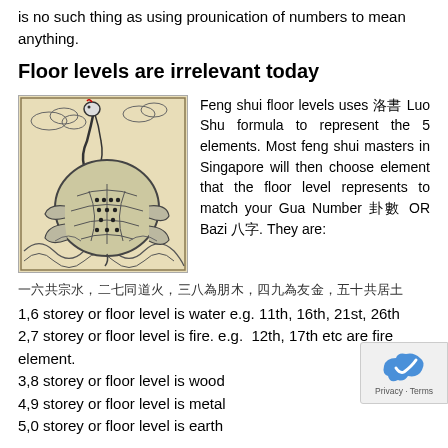is no such thing as using prounication of numbers to mean anything.
Floor levels are irrelevant today
[Figure (illustration): Traditional Chinese illustration of a turtle (Lo Shu turtle) with dots on its shell, surrounded by waves and clouds, with decorative elements — a black and white historical woodblock print style image.]
Feng shui floor levels uses 洛書 Luo Shu formula to represent the 5 elements. Most feng shui masters in Singapore will then choose element that the floor level represents to match your Gua Number 卦數 OR Bazi 八字. They are:
一六共宗水，二七同道火，三八為朋木，四九為友金，五十共居土
1,6 storey or floor level is water e.g. 11th, 16th, 21st, 26th
2,7 storey or floor level is fire. e.g.  12th, 17th etc are fire element.
3,8 storey or floor level is wood
4,9 storey or floor level is metal
5,0 storey or floor level is earth
Why floor level is irrelevant in today's context? Most high